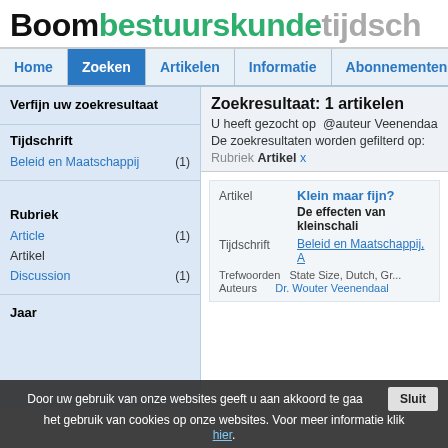Boombestuurskundetijdsch
Home | Zoeken | Artikelen | Informatie | Abonnementen
Verfijn uw zoekresultaat
Zoekresultaat: 1 artikelen
U heeft gezocht op @auteur Veenendaa
De zoekresultaten worden gefilterd op: Rubriek Artikel x
Tijdschrift
Beleid en Maatschappij (1)
Rubriek
Article (1)
Artikel
Discussion (1)
Artikel | Klein maar fijn? | De effecten van kleinschali...
Tijdschrift: Beleid en Maatschappij, A...
Trefwoorden: State Size, Dutch, Gr...; Auteurs: Dr. Wouter Veenendaal
Door uw gebruik van onze websites geeft u aan akkoord te gaan met het gebruik van cookies op onze websites. Voor meer informatie klik hier.